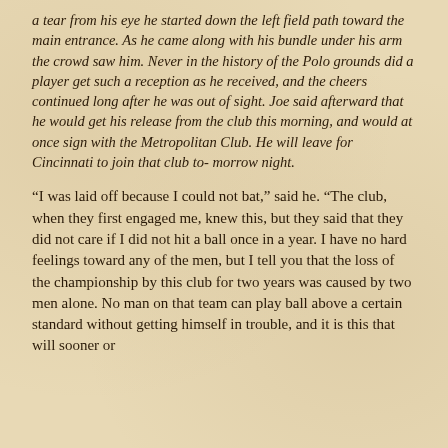a tear from his eye he started down the left field path toward the main entrance. As he came along with his bundle under his arm the crowd saw him. Never in the history of the Polo grounds did a player get such a reception as he received, and the cheers continued long after he was out of sight. Joe said afterward that he would get his release from the club this morning, and would at once sign with the Metropolitan Club. He will leave for Cincinnati to join that club tomorrow night.
“I was laid off because I could not bat,” said he. “The club, when they first engaged me, knew this, but they said that they did not care if I did not hit a ball once in a year. I have no hard feelings toward any of the men, but I tell you that the loss of the championship by this club for two years was caused by two men alone. No man on that team can play ball above a certain standard without getting himself in trouble, and it is this that will sooner or